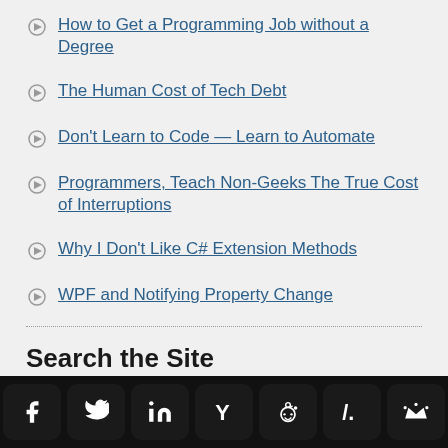How to Get a Programming Job without a Degree
The Human Cost of Tech Debt
Don't Learn to Code — Learn to Automate
Programmers, Teach Non-Geeks The True Cost of Interruptions
Why I Don't Like C# Extension Methods
WPF and Notifying Property Change
Search the Site
[Figure (infographic): Social media sharing icons bar at bottom: Facebook, Twitter, LinkedIn, Hacker News (Y), Reddit, Slashdot, and a crown icon, white icons on black rounded square backgrounds]